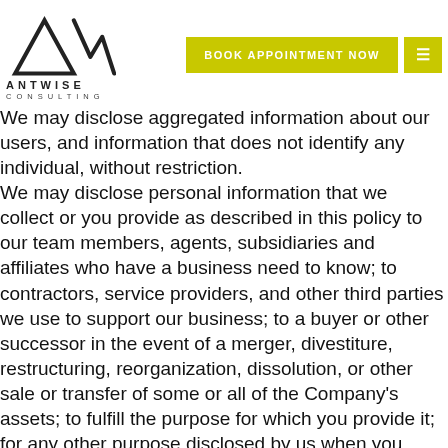Antwise Consulting — BOOK APPOINTMENT NOW
We may disclose aggregated information about our users, and information that does not identify any individual, without restriction.
We may disclose personal information that we collect or you provide as described in this policy to our team members, agents, subsidiaries and affiliates who have a business need to know; to contractors, service providers, and other third parties we use to support our business; to a buyer or other successor in the event of a merger, divestiture, restructuring, reorganization, dissolution, or other sale or transfer of some or all of the Company's assets; to fulfill the purpose for which you provide it; for any other purpose disclosed by us when you provide the information; and/or with your consent.
We may also disclose your personal information: to comply with any court order, law, or legal process, including to respond